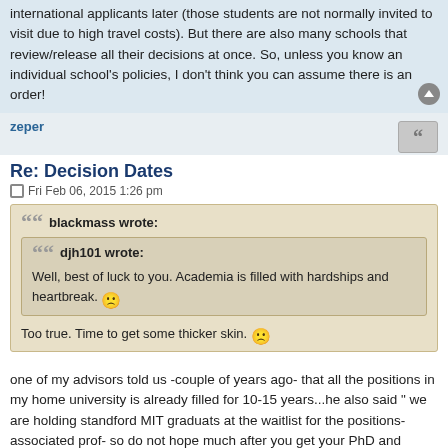international applicants later (those students are not normally invited to visit due to high travel costs). But there are also many schools that review/release all their decisions at once. So, unless you know an individual school's policies, I don't think you can assume there is an order!
zeper
Re: Decision Dates
Fri Feb 06, 2015 1:26 pm
blackmass wrote:
djh101 wrote:
Well, best of luck to you. Academia is filled with hardships and heartbreak. 😐
Too true. Time to get some thicker skin. 😐
one of my advisors told us -couple of years ago- that all the positions in my home university is already filled for 10-15 years...he also said " we are holding standford MIT graduats at the waitlist for the positions-associated prof- so do not hope much after you get your PhD and return to home